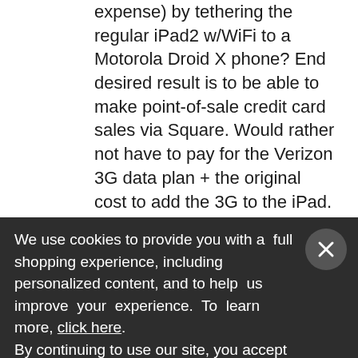can I skip the WiFi/3G option (and its expense) by tethering the regular iPad2 w/WiFi to a Motorola Droid X phone? End desired result is to be able to make point-of-sale credit card sales via Square. Would rather not have to pay for the Verizon 3G data plan + the original cost to add the 3G to the iPad. On the other hand, like the redundancy of having two means of plugging in the Square and swiping the card: phone or iPad. If we just have one means of sending in that data, and it craps out, we're SOL.
We use cookies to provide you with a full shopping experience, including personalized content, and to help us improve your experience. To learn more, click here. By continuing to use our site, you accept our use of Cookies, Privacy Policy and Terms of Use.